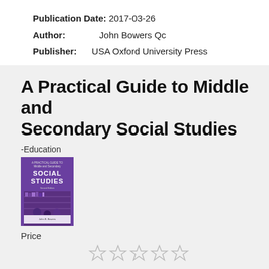Publication Date: 2017-03-26
Author:    John Bowers Qc
Publisher:  USA Oxford University Press
A Practical Guide to Middle and Secondary Social Studies
-Education
[Figure (photo): Book cover of 'A Practical Guide to Middle and Secondary Social Studies' with purple/violet color scheme showing students in a library setting]
Price
[Figure (other): Five empty/unfilled star rating icons]
198.30 BBD